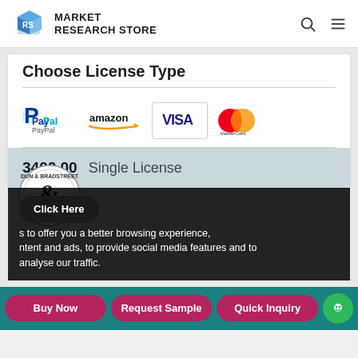[Figure (logo): Market Research Store logo with blue cube icon and bold text 'MARKET RESEARCH STORE']
Choose License Type
[Figure (infographic): Payment method logos: PayPal, Amazon Pay, Visa, MasterCard]
$3400.00  Single License
[Figure (logo): Dun & Bradstreet circular badge logo with ampersand]
Click Here
s to offer you a better browsing experience, ntent and ads, to provide social media features and to analyse our traffic.
Buy Now
Request Sample
Quick Inquiry